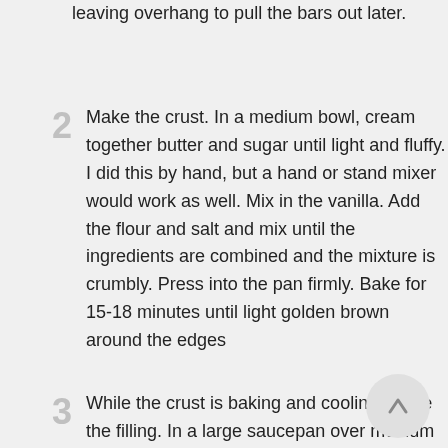leaving overhang to pull the bars out later.
2 Make the crust. In a medium bowl, cream together butter and sugar until light and fluffy. I did this by hand, but a hand or stand mixer would work as well. Mix in the vanilla. Add the flour and salt and mix until the ingredients are combined and the mixture is crumbly. Press into the pan firmly. Bake for 15-18 minutes until light golden brown around the edges
3 While the crust is baking and cooling, make the filling. In a large saucepan over medium or medium-high heat, combine butter, brown sugar, honey, maple syrup, and salt. Cook, stirring frequently, until